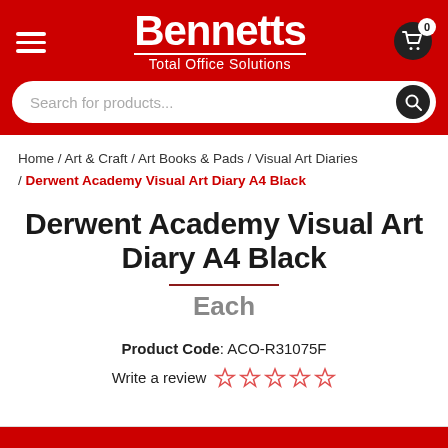[Figure (logo): Bennetts Total Office Solutions logo in white text on red background header with hamburger menu, search bar, and cart icon]
Home / Art & Craft / Art Books & Pads / Visual Art Diaries / Derwent Academy Visual Art Diary A4 Black
Derwent Academy Visual Art Diary A4 Black
Each
Product Code: ACO-R31075F
Write a review ☆☆☆☆☆